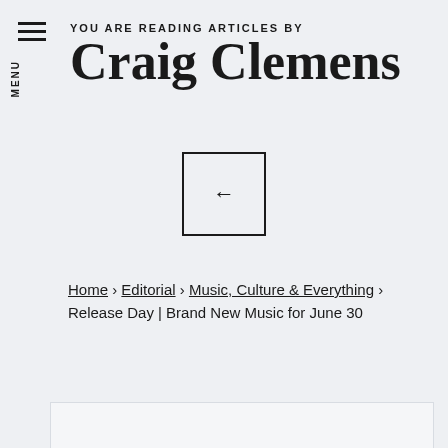YOU ARE READING ARTICLES BY
Craig Clemens
[Figure (other): Square back-navigation button with a left arrow inside]
Home › Editorial › Music, Culture & Everything › Release Day | Brand New Music for June 30
[Figure (other): White/light grey content area box, partially visible at bottom of page]